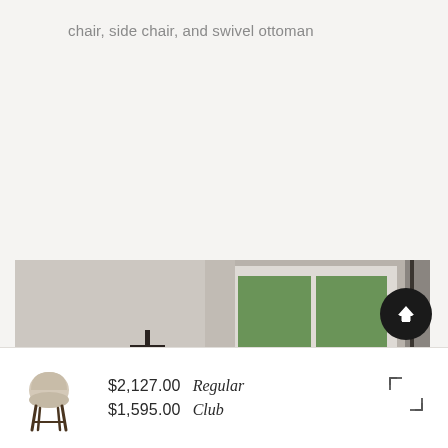chair, side chair, and swivel ottoman
[Figure (photo): Interior room photo showing a white-painted wall with a large multi-pane window overlooking green trees, a decorative wall-mounted black cross/plus artwork, and dried botanical stems/flowers in the lower left corner. Warm neutral tones throughout.]
| $2,127.00 | Regular |
| $1,595.00 | Club |